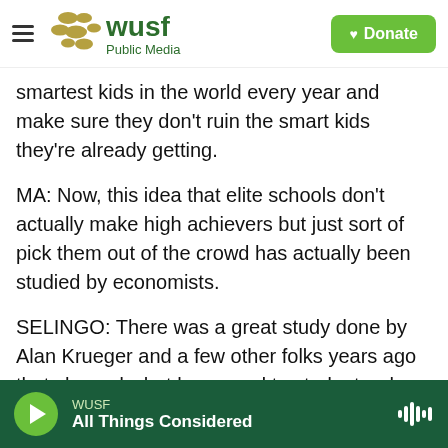WUSF Public Media — Donate
smartest kids in the world every year and make sure they don't ruin the smart kids they're already getting.
MA: Now, this idea that elite schools don't actually make high achievers but just sort of pick them out of the crowd has actually been studied by economists.
SELINGO: There was a great study done by Alan Krueger and a few other folks years ago that showed what happened to students who got into elite colleges and those who got into elite colleges but ended up going elsewhere and maybe just a
WUSF — All Things Considered